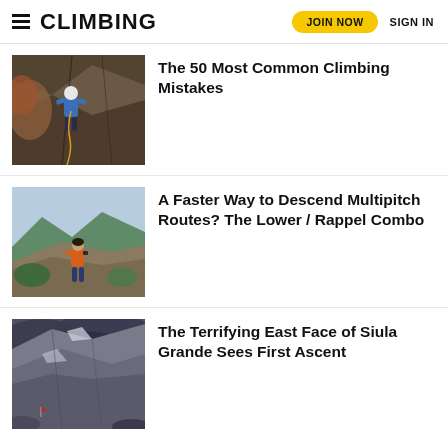CLIMBING | JOIN NOW | SIGN IN
[Figure (photo): Climber in blue jacket and white helmet ascending a rock face]
The 50 Most Common Climbing Mistakes
[Figure (photo): Person in orange jacket standing on a high rocky overlook with forested valley below]
A Faster Way to Descend Multipitch Routes? The Lower / Rappel Combo
[Figure (photo): A mountain face under stormy sky with small red flag visible at base]
The Terrifying East Face of Siula Grande Sees First Ascent